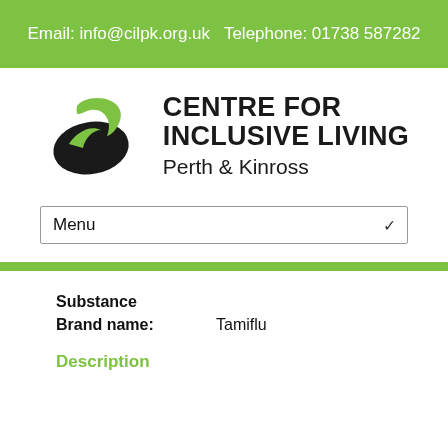Email: info@cilpk.org.uk  Telephone: 01738 587282
[Figure (logo): Centre for Inclusive Living Perth & Kinross logo with stylized CIL emblem in black and green]
Menu
Substance
Brand name: Tamiflu
Description